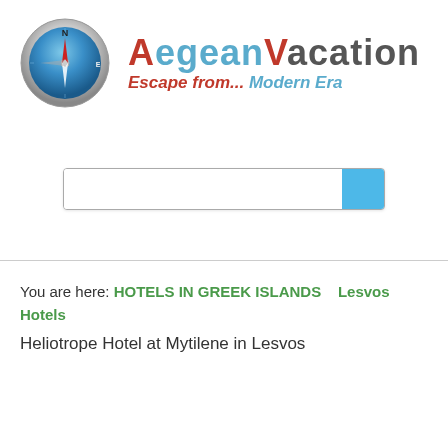[Figure (logo): Compass logo with N and E markers, blue and metallic design]
AegeanVacation
Escape from... Modern Era
[Figure (other): Search input box with blue search button on the right]
You are here: HOTELS IN GREEK ISLANDS    Lesvos Hotels
Heliotrope Hotel at Mytilene in Lesvos